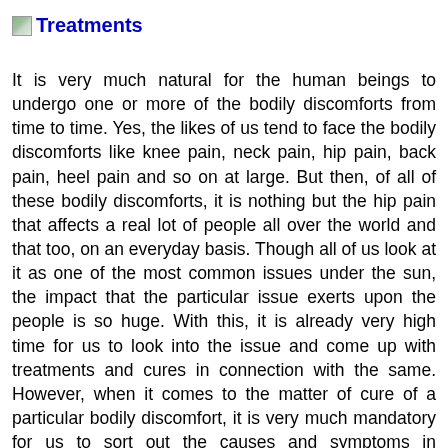Treatments
It is very much natural for the human beings to undergo one or more of the bodily discomforts from time to time. Yes, the likes of us tend to face the bodily discomforts like knee pain, neck pain, hip pain, back pain, heel pain and so on at large. But then, of all of these bodily discomforts, it is nothing but the hip pain that affects a real lot of people all over the world and that too, on an everyday basis. Though all of us look at it as one of the most common issues under the sun, the impact that the particular issue exerts upon the people is so huge. With this, it is already very high time for us to look into the issue and come up with treatments and cures in connection with the same. However, when it comes to the matter of cure of a particular bodily discomfort, it is very much mandatory for us to sort out the causes and symptoms in connection with the same. Only then, it will be possible for us to come up with the right medications and treatments so as to bring about the cure. In the context of today, the technology has improved so much and we have a real lot of online web sources in connection to almost each and everything. If you want to know more about the causes, symptoms and treatments in connection to hip pain,